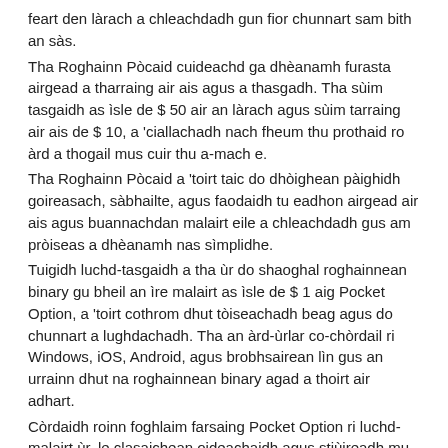feart den làrach a chleachdadh gun fior chunnart sam bith an sàs.
Tha Roghainn Pòcaid cuideachd ga dhèanamh furasta airgead a tharraing air ais agus a thasgadh. Tha sùim tasgaidh as ìsle de $ 50 air an làrach agus sùim tarraing air ais de $ 10, a 'ciallachadh nach fheum thu prothaid ro àrd a thogail mus cuir thu a-mach e.
Tha Roghainn Pòcaid a 'toirt taic do dhòighean pàighidh goireasach, sàbhailte, agus faodaidh tu eadhon airgead air ais agus buannachdan malairt eile a chleachdadh gus am pròiseas a dhèanamh nas sìmplidhe.
Tuigidh luchd-tasgaidh a tha ùr do shaoghal roghainnean binary gu bheil an ìre malairt as ìsle de $ 1 aig Pocket Option, a 'toirt cothrom dhut tòiseachadh beag agus do chunnart a lughdachadh. Tha an àrd-ùrlar co-chòrdail ri Windows, iOS, Android, agus brobhsairean lìn gus an urrainn dhut na roghainnean binary agad a thoirt air adhart.
Còrdaidh roinn foghlaim farsaing Pocket Option ri luchd-malairt ùr, le clasaichean oideachaidh agus stiùireadh mu ro-innleachdan malairt binary. Bidh an làrach gad chuideachadh le bhith a 'faireachdainn misneachail gu bheil fios agad mu na buannachdan taobh a-staigh agus taobh a-muigh malairt roghainnean binary mus cuir thu do chuid airgid air an loidhne.